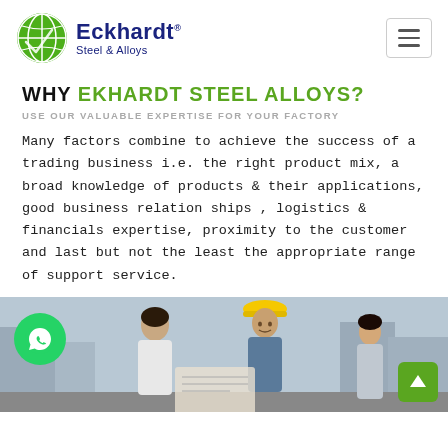[Figure (logo): Eckhardt Steel & Alloys logo with green globe icon and navy blue text]
WHY EKHARDT STEEL ALLOYS?
USE OUR VALUABLE EXPERTISE FOR YOUR FACTORY
Many factors combine to achieve the success of a trading business i.e. the right product mix, a broad knowledge of products & their applications, good business relation ships , logistics & financials expertise, proximity to the customer and last but not the least the appropriate range of support service.
[Figure (photo): Construction workers wearing hard hats reviewing documents at a job site]